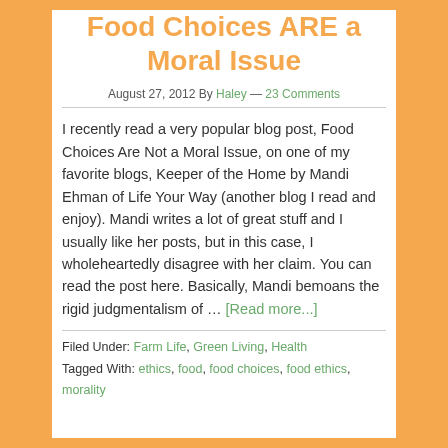Food Choices ARE a Moral Issue
August 27, 2012 By Haley — 23 Comments
I recently read a very popular blog post, Food Choices Are Not a Moral Issue, on one of my favorite blogs, Keeper of the Home by Mandi Ehman of Life Your Way (another blog I read and enjoy). Mandi writes a lot of great stuff and I usually like her posts, but in this case, I wholeheartedly disagree with her claim. You can read the post here. Basically, Mandi bemoans the rigid judgmentalism of … [Read more...]
Filed Under: Farm Life, Green Living, Health
Tagged With: ethics, food, food choices, food ethics, morality